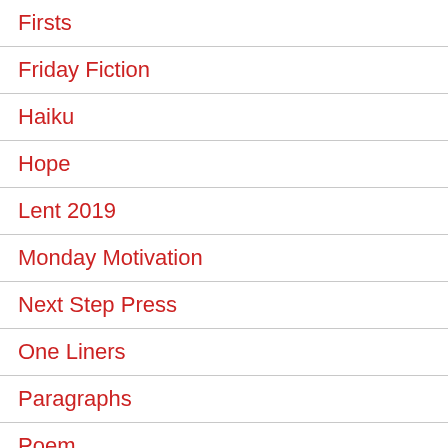Firsts
Friday Fiction
Haiku
Hope
Lent 2019
Monday Motivation
Next Step Press
One Liners
Paragraphs
Poem